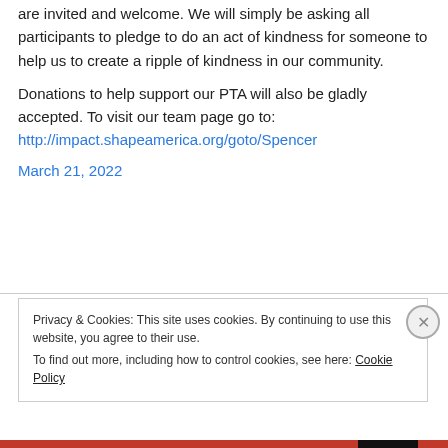are invited and welcome. We will simply be asking all participants to pledge to do an act of kindness for someone to help us to create a ripple of kindness in our community.
Donations to help support our PTA will also be gladly accepted. To visit our team page go to: http://impact.shapeamerica.org/goto/Spencer
March 21, 2022
Privacy & Cookies: This site uses cookies. By continuing to use this website, you agree to their use.
To find out more, including how to control cookies, see here: Cookie Policy
Close and accept